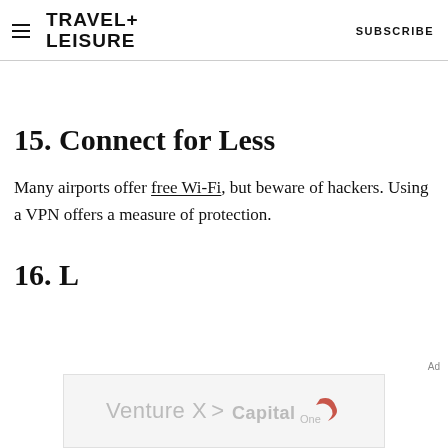TRAVEL+ LEISURE    SUBSCRIBE
15. Connect for Less
Many airports offer free Wi-Fi, but beware of hackers. Using a VPN offers a measure of protection.
16. [partially visible]
[Figure (other): Advertisement banner: Venture X > Capital One logo]